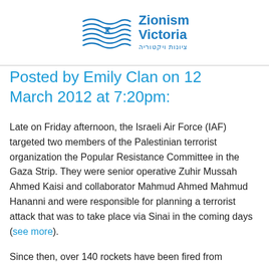[Figure (logo): Zionism Victoria logo with wave/star graphic and Hebrew text ציונות ויקטוריה]
Posted by Emily Clan on 12 March 2012 at 7:20pm:
Late on Friday afternoon, the Israeli Air Force (IAF) targeted two members of the Palestinian terrorist organization the Popular Resistance Committee in the Gaza Strip. They were senior operative Zuhir Mussah Ahmed Kaisi and collaborator Mahmud Ahmed Mahmud Hananni and were responsible for planning a terrorist attack that was to take place via Sinai in the coming days (see more).
Since then, over 140 rockets have been fired from